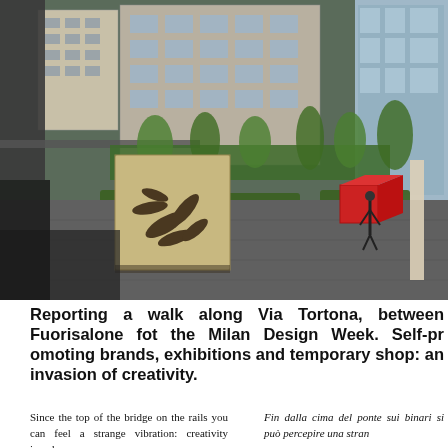[Figure (photo): Outdoor plaza of a modern urban complex along Via Tortona, Milan. Contemporary multi-story buildings with large glass windows in the background, green hedgerows and trees in a landscaped courtyard. In the foreground, a large sculptural installation on a dark paved plaza — a sandy-colored box with dark curved petal/seed shapes on its face. A red cube sculpture is visible mid-ground. A person walks near the right side.]
Reporting a walk along Via Tortona, between Fuorisalone fot the Milan Design Week. Self-promoting brands, exhibitions and temporary shop: an invasion of creativity.
Since the top of the bridge on the rails you can feel a strange vibration: creativity invades
Fin dalla cima del ponte sui binari si può percepire una strana